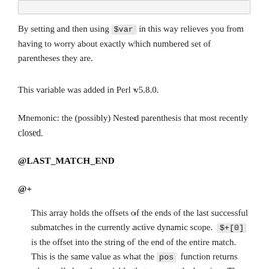[Figure (other): A bordered light gray box at the top of the page, likely a code or content block continuation from the previous page.]
By setting and then using $var in this way relieves you from having to worry about exactly which numbered set of parentheses they are.
This variable was added in Perl v5.8.0.
Mnemonic: the (possibly) Nested parenthesis that most recently closed.
@LAST_MATCH_END
@+
This array holds the offsets of the ends of the last successful submatches in the currently active dynamic scope. $+[0] is the offset into the string of the end of the entire match. This is the same value as what the pos function returns when called on the variable that was matched against. The nth element of this array holds the offset of the nth submatch, so $+[1] is the offset past where $1